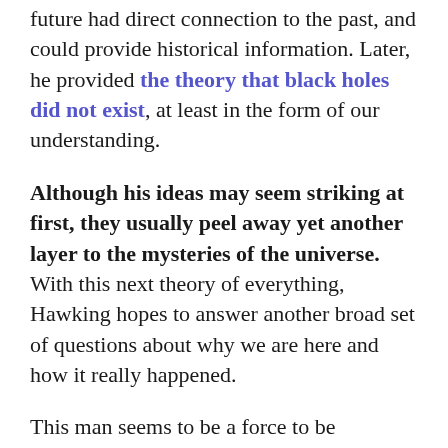future had direct connection to the past, and could provide historical information. Later, he provided the theory that black holes did not exist, at least in the form of our understanding.
Although his ideas may seem striking at first, they usually peel away yet another layer to the mysteries of the universe. With this next theory of everything, Hawking hopes to answer another broad set of questions about why we are here and how it really happened.
This man seems to be a force to be reckoned with, in his own. We should keep our eyes on him and expect great revelations about the